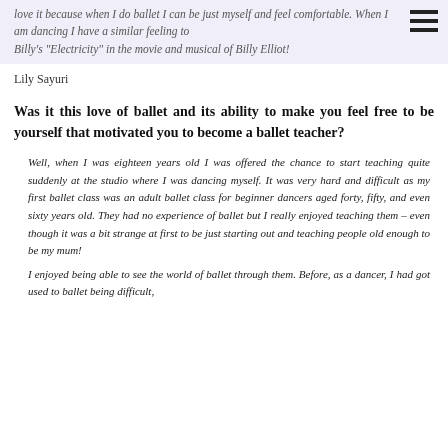love it because when I do ballet I can be just myself and feel comfortable. When I am dancing I have a similar feeling to Billy's "Electricity" in the movie and musical of Billy Elliot!
Lily Sayuri
Was it this love of ballet and its ability to make you feel free to be yourself that motivated you to become a ballet teacher?
Well, when I was eighteen years old I was offered the chance to start teaching quite suddenly at the studio where I was dancing myself. It was very hard and difficult as my first ballet class was an adult ballet class for beginner dancers aged forty, fifty, and even sixty years old. They had no experience of ballet but I really enjoyed teaching them – even though it was a bit strange at first to be just starting out and teaching people old enough to be my mum!
I enjoyed being able to see the world of ballet through them. Before, as a dancer, I had got used to ballet being difficult,